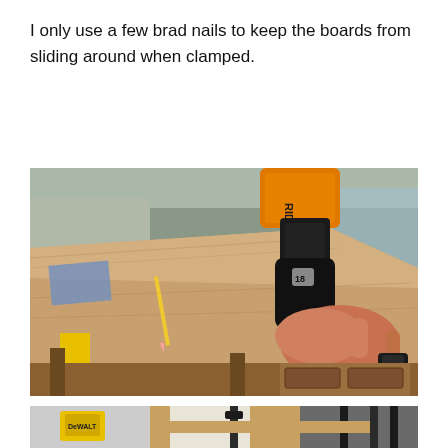I only use a few brad nails to keep the boards from sliding around when clamped.
[Figure (photo): A person using a RIDGID brand 18-gauge brad nailer on wooden boards laid flat on a workshop workbench. A pencil is visible on the wood surface. The hand gripping the nailer has a black wristwatch.]
[Figure (photo): Partial view of a workshop scene showing clamped boards with yellow power tool (DeWalt) visible in background, and metal clamps holding wood together.]